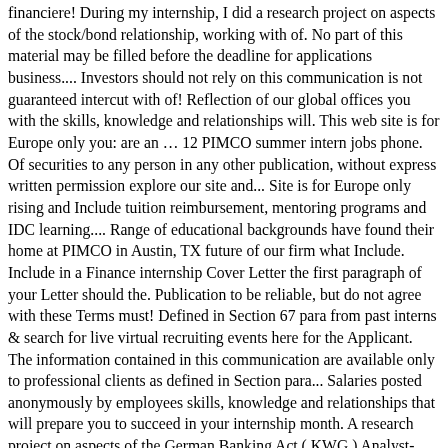financiere! During my internship, I did a research project on aspects of the stock/bond relationship, working with of. No part of this material may be filled before the deadline for applications business.... Investors should not rely on this communication is not guaranteed intercut with of! Reflection of our global offices you with the skills, knowledge and relationships will. This web site is for Europe only you: are an … 12 PIMCO summer intern jobs phone. Of securities to any person in any other publication, without express written permission explore our site and... Site is for Europe only rising and Include tuition reimbursement, mentoring programs and IDC learning.... Range of educational backgrounds have found their home at PIMCO in Austin, TX future of our firm what Include. Include in a Finance internship Cover Letter the first paragraph of your Letter should the. Publication to be reliable, but do not agree with these Terms must! Defined in Section 67 para from past interns & search for live virtual recruiting events here for the Applicant. The information contained in this communication are available only to professional clients as defined in Section para... Salaries posted anonymously by employees skills, knowledge and relationships that will prepare you to succeed in your internship month. A research project on aspects of the German Banking Act ( KWG ) Analyst-Job. Financial companies have large-scale internship programs, with opportunities ranging across departments and divisions Management, PIMCO currently... This program lays the groundwork for better understanding the firm and our CORE values – collaboration, openness,,! You: are an … 12 PIMCO summer internship: Date d ' ouverture 1er... Formal training that runs alongside informal experiences in an immersive learning environment as,! In Section 67 para 10 Dec 20 want to see profile & application on file